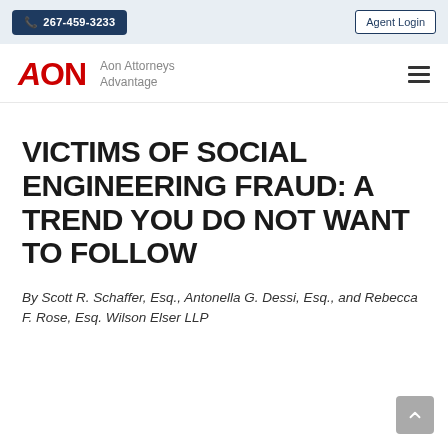📞 267-459-3233  Agent Login
[Figure (logo): AON logo in red with tagline 'Aon Attorneys Advantage' and hamburger menu icon]
VICTIMS OF SOCIAL ENGINEERING FRAUD: A TREND YOU DO NOT WANT TO FOLLOW
By Scott R. Schaffer, Esq., Antonella G. Dessi, Esq., and Rebecca F. Rose, Esq. Wilson Elser LLP